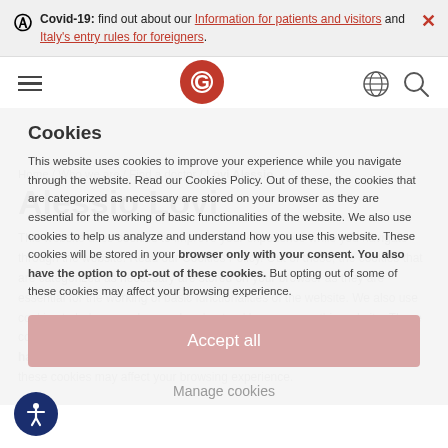Covid-19: find out about our Information for patients and visitors and Italy's entry rules for foreigners.
[Figure (screenshot): Navigation bar with hamburger menu, circular GSD logo in red/pink, globe icon, and search icon]
Home / Who we are / Find a doctor / Lovi Alessio
Alessio Lovi
Cookies
This website uses cookies to improve your experience while you navigate through the website. Read our Cookies Policy. Out of these, the cookies that are categorized as necessary are stored on your browser as they are essential for the working of basic functionalities of the website. We also use cookies to help us analyze and understand how you use this website. These cookies will be stored in your browser only with your consent. You also have the option to opt-out of these cookies. But opting out of some of these cookies may affect your browsing experience.
Accept all
Manage cookies
[Figure (illustration): Accessibility icon: white figure with arms outstretched in a circle on dark blue background]